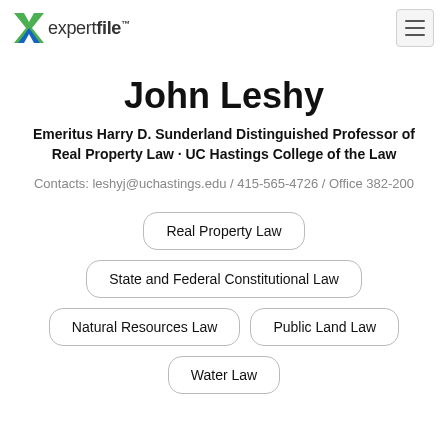expertfile
John Leshy
Emeritus Harry D. Sunderland Distinguished Professor of Real Property Law · UC Hastings College of the Law
Contacts: leshyj@uchastings.edu / 415-565-4726 / Office 382-200
Real Property Law
State and Federal Constitutional Law
Natural Resources Law
Public Land Law
Water Law